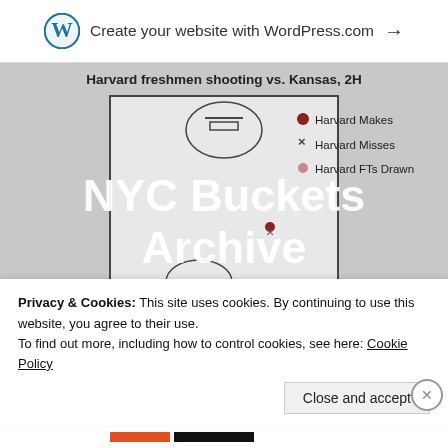Create your website with WordPress.com →
[Figure (other): Basketball half-court shot chart titled 'Harvard freshmen shooting vs. Kansas, 2H' showing shot locations with legend: Harvard Makes (filled red dot), Harvard Misses (×), Harvard FTs Drawn (light red dot). Court diagram with painted area, three-point arc, and shot markers plotted at various positions.]
NYC Buckets Archive
Privacy & Cookies: This site uses cookies. By continuing to use this website, you agree to their use.
To find out more, including how to control cookies, see here: Cookie Policy
Close and accept